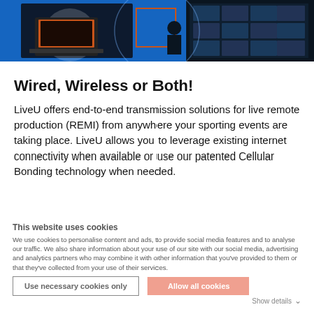[Figure (photo): Hero banner image showing broadcast/live production equipment on a blue background with a dark control room scene on the right side.]
Wired, Wireless or Both!
LiveU offers end-to-end transmission solutions for live remote production (REMI) from anywhere your sporting events are taking place. LiveU allows you to leverage existing internet connectivity when available or use our patented Cellular Bonding technology when needed.
This website uses cookies
We use cookies to personalise content and ads, to provide social media features and to analyse our traffic. We also share information about your use of our site with our social media, advertising and analytics partners who may combine it with other information that you've provided to them or that they've collected from your use of their services.
Use necessary cookies only | Allow all cookies | Show details